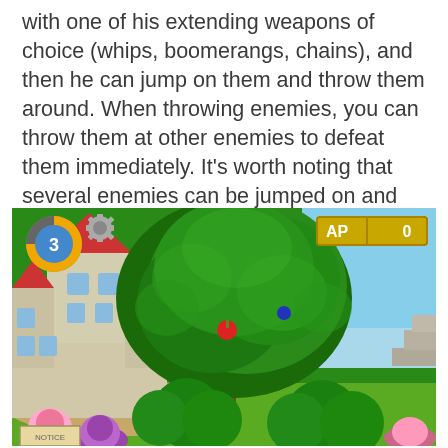with one of his extending weapons of choice (whips, boomerangs, chains), and then he can jump on them and throw them around. When throwing enemies, you can throw them at other enemies to defeat them immediately. It's worth noting that several enemies can be jumped on and thrown without needing to stun them.
[Figure (screenshot): Video game screenshot showing a colorful 3D platformer scene with a large green tree, a castle with red roofs in the background, character heads visible at bottom, HUD elements showing AP: 0 and lives counter showing 3, and a red apple visible in the tree.]